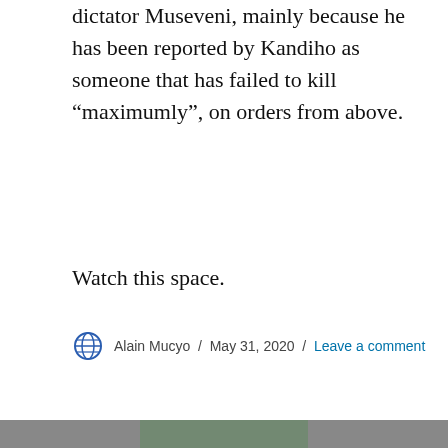dictator Museveni, mainly because he has been reported by Kandiho as someone that has failed to kill “maximumly”, on orders from above.
Watch this space.
Alain Mucyo / May 31, 2020 / Leave a comment
Senile Museveni to Kill Kaka
Privacy & Cookies: This site uses cookies. By continuing to use this website, you agree to their use.
To find out more, including how to control cookies, see here:
Cookie Policy
Close and accept